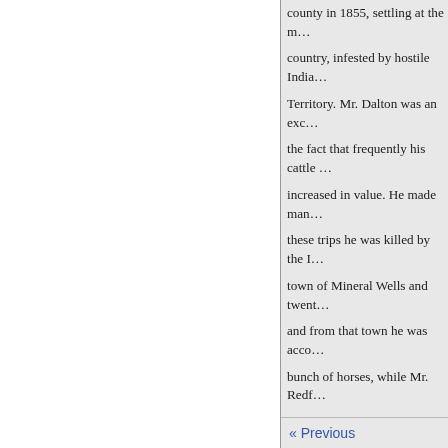county in 1855, settling at the m… country, infested by hostile India… Territory. Mr. Dalton was an exc… the fact that frequently his cattle … increased in value. He made man… these trips he was killed by the I… town of Mineral Wells and twent… and from that town he was acco… bunch of horses, while Mr. Redf… Indians at the point mentioned a… but leaving an iron-bound leath… bills of large denomination, whi…

    Mr. Dalton of this review still … The three men were scalped and …

Robert S. Dalton was reared up… fraught with exciting incidents a… county, when it was a largely un… he embarked in the cattle busine… successful and free from financi… depression. He is today one of t… His first in
« Previous